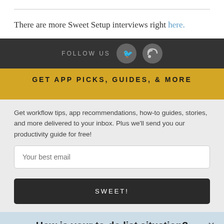There are more Sweet Setup interviews right here.
[Figure (other): Follow us bar with Twitter bird icon and RSS icon on dark background]
GET APP PICKS, GUIDES, & MORE
Get workflow tips, app recommendations, how-to guides, stories, and more delivered to your inbox. Plus we'll send you our productivity guide for free!
Your best email
SWEET!
How is your to-do list situation?
Click for more